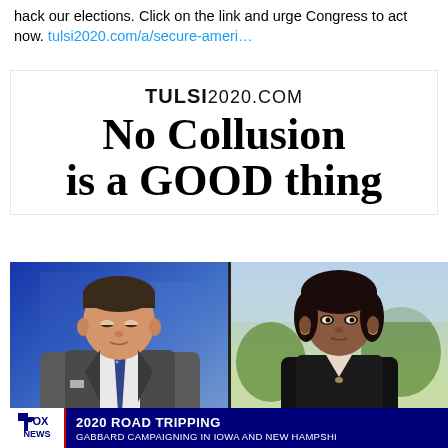hack our elections. Click on the link and urge Congress to act now. tulsi2020.com/a/secure-ameri…
[Figure (screenshot): Tulsi2020.com campaign card with bold headline 'No Collusion is a GOOD thing' on white background]
[Figure (screenshot): Fox News split-screen showing male anchor on left (blue studio background) and female candidate Gabbard on right (outdoor background), with lower third bar reading '2020 ROAD TRIPPING / GABBARD CAMPAIGNING IN IOWA AND NEW HAMPSHIRE' and Fox News logo]